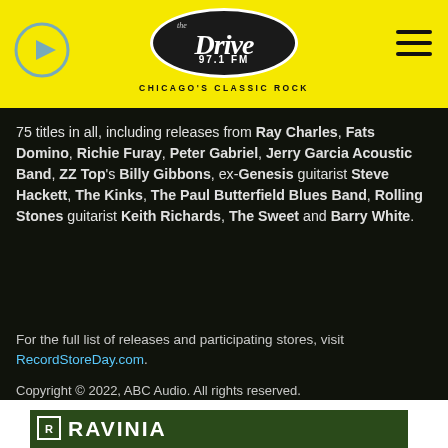The Drive 97.1 FM — CHICAGO'S CLASSIC ROCK
75 titles in all, including releases from Ray Charles, Fats Domino, Richie Furay, Peter Gabriel, Jerry Garcia Acoustic Band, ZZ Top's Billy Gibbons, ex-Genesis guitarist Steve Hackett, The Kinks, The Paul Butterfield Blues Band, Rolling Stones guitarist Keith Richards, The Sweet and Barry White.
For the full list of releases and participating stores, visit RecordStoreDay.com.
Copyright © 2022, ABC Audio. All rights reserved.
[Figure (logo): Ravinia festival logo banner at bottom of page]